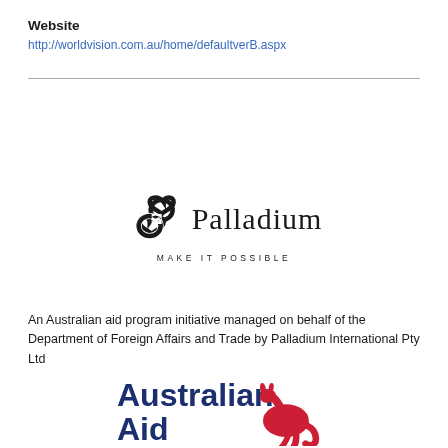Website
http://worldvision.com.au/home/defaultverB.aspx
[Figure (logo): Palladium logo with infinity-loop symbol and text 'Palladium MAKE IT POSSIBLE']
An Australian aid program initiative managed on behalf of the Department of Foreign Affairs and Trade by Palladium International Pty Ltd
[Figure (logo): Australian Aid logo with bold navy text 'Australian Aid' and red kangaroo silhouette]